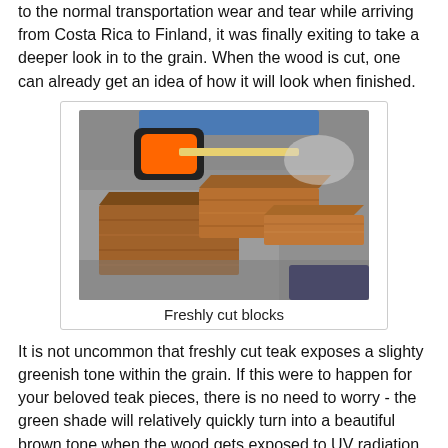to the normal transportation wear and tear while arriving from Costa Rica to Finland, it was finally exiting to take a deeper look in to the grain. When the wood is cut, one can already get an idea of how it will look when finished.
[Figure (photo): Photo of freshly cut teak wood blocks on a work surface, with a tape measure visible in the background. The blocks show the characteristic grain and warm brown color of teak wood.]
Freshly cut blocks
It is not uncommon that freshly cut teak exposes a slighty greenish tone within the grain. If this were to happen for your beloved teak pieces, there is no need to worry - the green shade will relatively quickly turn into a beautiful brown tone when the wood gets exposed to UV radiation from the sun